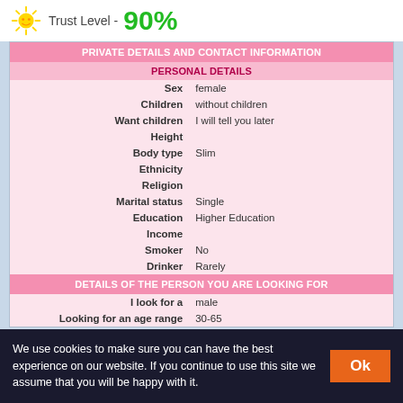Trust Level - 90%
| Field | Value |
| --- | --- |
| PRIVATE DETAILS AND CONTACT INFORMATION |  |
| PERSONAL DETAILS |  |
| Sex | female |
| Children | without children |
| Want children | I will tell you later |
| Height |  |
| Body type | Slim |
| Ethnicity |  |
| Religion |  |
| Marital status | Single |
| Education | Higher Education |
| Income |  |
| Smoker | No |
| Drinker | Rarely |
| DETAILS OF THE PERSON YOU ARE LOOKING FOR |  |
| I look for a | male |
| Looking for an age range | 30-65 |
We use cookies to make sure you can have the best experience on our website. If you continue to use this site we assume that you will be happy with it.